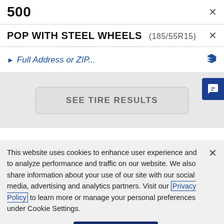500
POP WITH STEEL WHEELS (185/55R15)
Full Address or ZIP...
SEE TIRE RESULTS
This website uses cookies to enhance user experience and to analyze performance and traffic on our website. We also share information about your use of our site with our social media, advertising and analytics partners. Visit our Privacy Policy to learn more or manage your personal preferences under Cookie Settings.
Cookie Settings
Accept Cookies